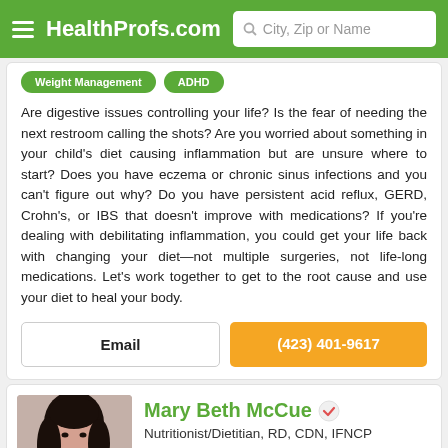HealthProfs.com  |  City, Zip or Name
Weight Management
ADHD
Are digestive issues controlling your life? Is the fear of needing the next restroom calling the shots? Are you worried about something in your child's diet causing inflammation but are unsure where to start? Does you have eczema or chronic sinus infections and you can't figure out why? Do you have persistent acid reflux, GERD, Crohn's, or IBS that doesn't improve with medications? If you're dealing with debilitating inflammation, you could get your life back with changing your diet—not multiple surgeries, not life-long medications. Let's work together to get to the root cause and use your diet to heal your body.
Email
(423) 401-9617
Mary Beth McCue
Nutritionist/Dietitian, RD, CDN, IFNCP
Office is near: